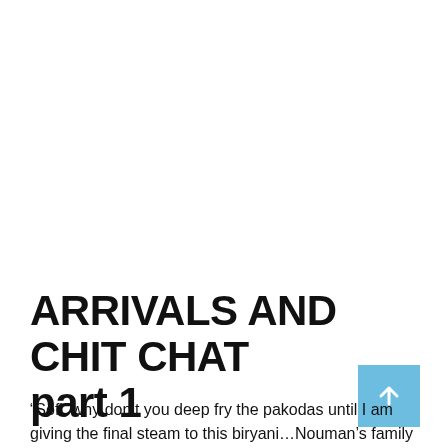ARRIVALS AND CHIT CHAT part 1
“Sofi, why don’t you deep fry the pakodas until I am giving the final steam to this biryani…Nouman’s family would be